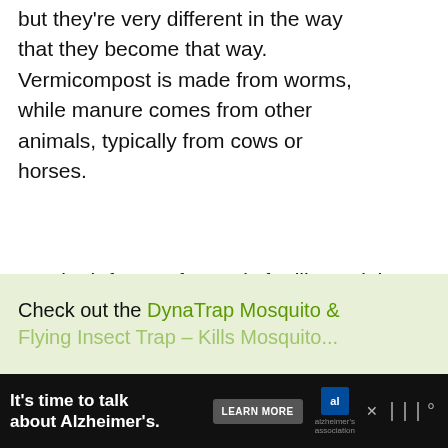but they're very different in the way that they become that way. Vermicompost is made from worms, while manure comes from other animals, typically from cows or horses.
But, both forms of organic fertilizer might not be created equal.
Is Vermicompost better than manure? Vermicompost, overall, is better than manure. It excels in terms of:
WHAT'S NEXT → Vermicompost vs. Tradition...
Check out the DynaTrap Mosquito & Flying Insect Trap – Kills Mosquito...
It's time to talk about Alzheimer's.